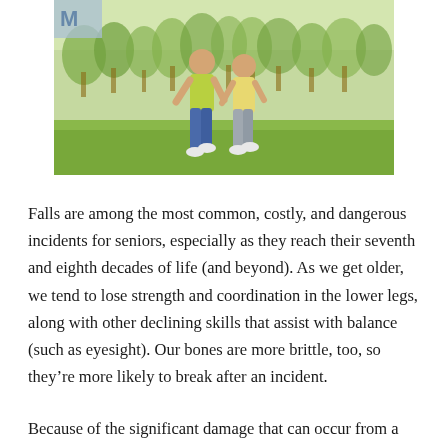[Figure (photo): Two elderly people walking together in a park with green grass and trees in the background]
Falls are among the most common, costly, and dangerous incidents for seniors, especially as they reach their seventh and eighth decades of life (and beyond). As we get older, we tend to lose strength and coordination in the lower legs, along with other declining skills that assist with balance (such as eyesight). Our bones are more brittle, too, so they're more likely to break after an incident.
Because of the significant damage that can occur from a